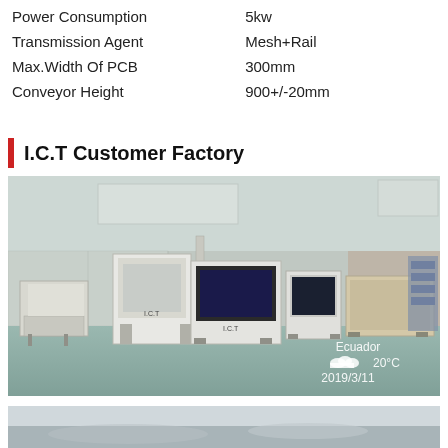| Property | Value |
| --- | --- |
| Power Consumption | 5kw |
| Transmission Agent | Mesh+Rail |
| Max.Width Of PCB | 300mm |
| Conveyor Height | 900+/-20mm |
I.C.T Customer Factory
[Figure (photo): Factory floor with I.C.T branded SMT machines (pick-and-place, reflow oven, etc.) in a clean room environment. Watermark shows: Ecuador, cloud icon, 20°C, 2019/3/11]
[Figure (photo): Partial view of another factory/machine photo at the bottom of the page]